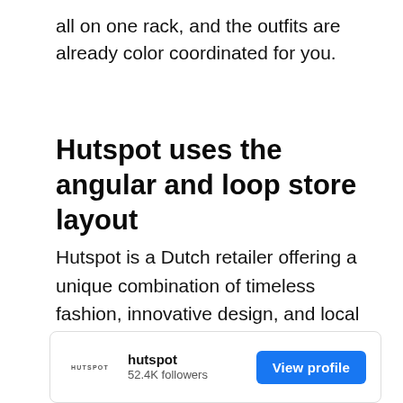all on one rack, and the outfits are already color coordinated for you.
Hutspot uses the angular and loop store layout
Hutspot is a Dutch retailer offering a unique combination of timeless fashion, innovative design, and local art. Its aim is to help young designers and artists sell their goods alongside established brands.
[Figure (other): Hutspot Instagram-style profile card showing logo, name 'hutspot', '52.4K followers', and a 'View profile' blue button]